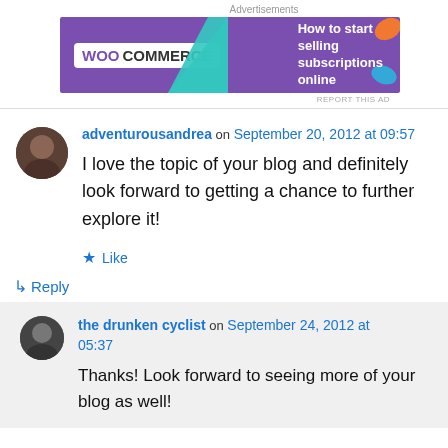[Figure (other): WooCommerce advertisement banner: 'How to start selling subscriptions online']
adventurousandrea on September 20, 2012 at 09:57
I love the topic of your blog and definitely look forward to getting a chance to further explore it!
★ Like
↳ Reply
the drunken cyclist on September 24, 2012 at 05:37
Thanks! Look forward to seeing more of your blog as well!